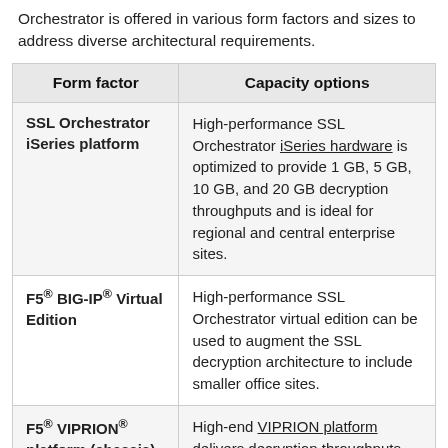Orchestrator is offered in various form factors and sizes to address diverse architectural requirements.
| Form factor | Capacity options |
| --- | --- |
| SSL Orchestrator iSeries platform | High-performance SSL Orchestrator iSeries hardware is optimized to provide 1 GB, 5 GB, 10 GB, and 20 GB decryption throughputs and is ideal for regional and central enterprise sites. |
| F5® BIG-IP® Virtual Edition | High-performance SSL Orchestrator virtual edition can be used to augment the SSL decryption architecture to include smaller office sites. |
| F5® VIPRION® platform (chassis) | High-end VIPRION platform delivers decryption throughputs |